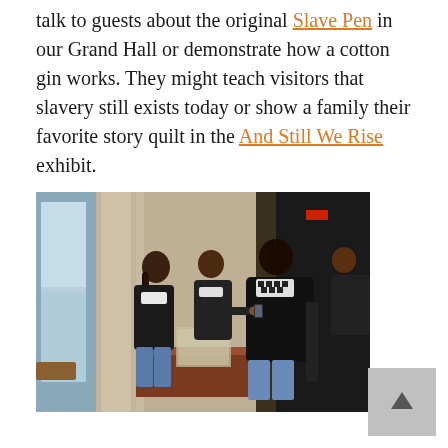talk to guests about the original Slave Pen in our Grand Hall or demonstrate how a cotton gin works. They might teach visitors that slavery still exists today or show a family their favorite story quilt in the And Still We Rise exhibit.
[Figure (photo): Photo of several people standing around a wooden table in a museum hall. Two staff members in black jackets appear to be demonstrating something to visitors. Stone columns and large windows are visible in the background.]